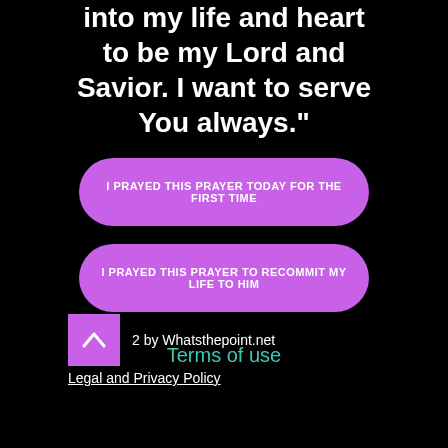into my life and heart to be my Lord and Savior. I want to serve You always."
I PRAYED THIS PRAYER TODAY FOR THE FIRST TIME
I PRAYED THIS PRAYER TO RECOMMIT MY LIFE TO HIM
Terms of use
© 2022 by Whatsthepoint.net
Legal and Privacy Policy